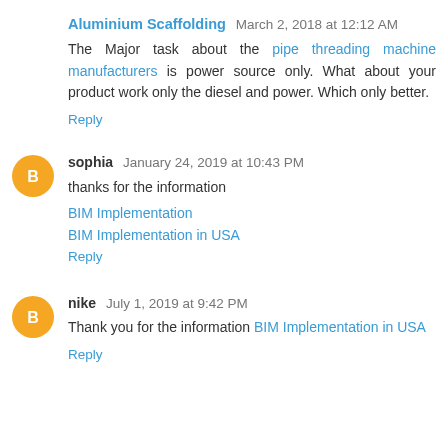Aluminium Scaffolding March 2, 2018 at 12:12 AM
The Major task about the pipe threading machine manufacturers is power source only. What about your product work only the diesel and power. Which only better.
Reply
sophia January 24, 2019 at 10:43 PM
thanks for the information
BIM Implementation
BIM Implementation in USA
Reply
nike July 1, 2019 at 9:42 PM
Thank you for the information BIM Implementation in USA
Reply